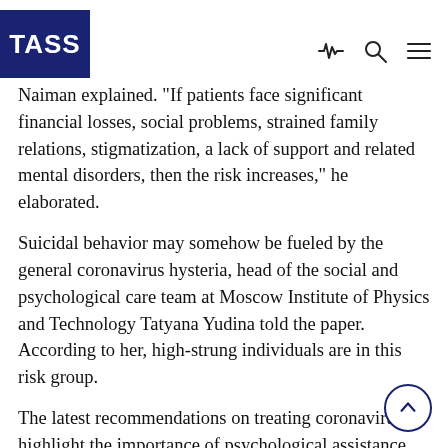TASS
Naiman explained. "If patients face significant financial losses, social problems, strained family relations, stigmatization, a lack of support and related mental disorders, then the risk increases," he elaborated.
Suicidal behavior may somehow be fueled by the general coronavirus hysteria, head of the social and psychological care team at Moscow Institute of Physics and Technology Tatyana Yudina told the paper. According to her, high-strung individuals are in this risk group.
The latest recommendations on treating coronavirus highlight the importance of psychological assistance, Senior Lecturer at Tyumen State University's Department of General and Social Psychology Olga Dubrovina noted. "Our Chinese colleagues say that based on research, 48% of confirmed patients suffer from psychological stress after being admitted to the hospital," she said.